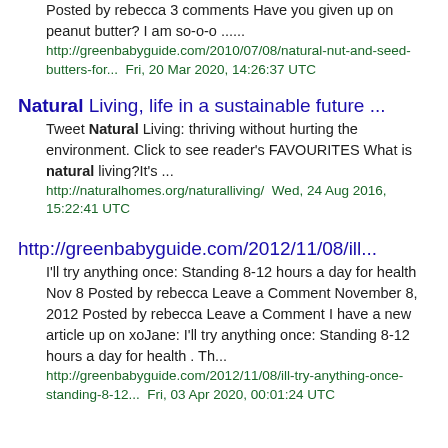Posted by rebecca 3 comments Have you given up on peanut butter? I am so-o-o ......
http://greenbabyguide.com/2010/07/08/natural-nut-and-seed-butters-for...  Fri, 20 Mar 2020, 14:26:37 UTC
Natural Living, life in a sustainable future ...
Tweet Natural Living: thriving without hurting the environment. Click to see reader's FAVOURITES What is natural living?It's ...
http://naturalhomes.org/naturalliving/  Wed, 24 Aug 2016, 15:22:41 UTC
http://greenbabyguide.com/2012/11/08/ill...
I'll try anything once: Standing 8-12 hours a day for health Nov 8 Posted by rebecca Leave a Comment November 8, 2012 Posted by rebecca Leave a Comment I have a new article up on xoJane: I'll try anything once: Standing 8-12 hours a day for health . Th...
http://greenbabyguide.com/2012/11/08/ill-try-anything-once-standing-8-12...  Fri, 03 Apr 2020, 00:01:24 UTC